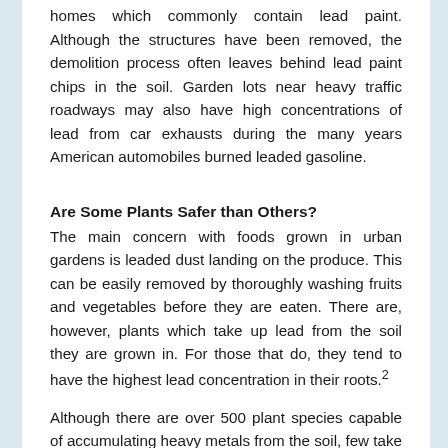homes which commonly contain lead paint. Although the structures have been removed, the demolition process often leaves behind lead paint chips in the soil. Garden lots near heavy traffic roadways may also have high concentrations of lead from car exhausts during the many years American automobiles burned leaded gasoline.
Are Some Plants Safer than Others?
The main concern with foods grown in urban gardens is leaded dust landing on the produce. This can be easily removed by thoroughly washing fruits and vegetables before they are eaten. There are, however, plants which take up lead from the soil they are grown in. For those that do, they tend to have the highest lead concentration in their roots.2
Although there are over 500 plant species capable of accumulating heavy metals from the soil, few take up lead.3 For plant that do, studies show lead does not readily accumulate in the fruiting parts of vegetable or in fruit crops such as corn, beans, squash, tomatoes, strawberries, apples. Higher concentrations are more likely to be found in leafy vegetables such as lettuce and on the surface of root crops and carrots.4